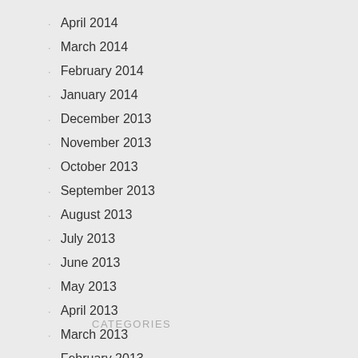April 2014
March 2014
February 2014
January 2014
December 2013
November 2013
October 2013
September 2013
August 2013
July 2013
June 2013
May 2013
April 2013
March 2013
February 2013
CATEGORIES